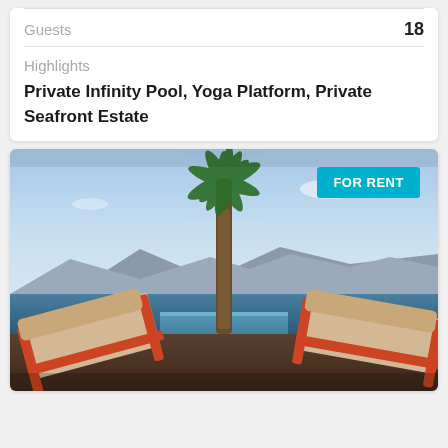| Field | Value |
| --- | --- |
| Guests | 18 |
| Highlights | Private Infinity Pool, Yoga Platform, Private Seafront Estate |
[Figure (photo): Outdoor infinity pool terrace with two orange-framed lounge chairs, a tall palm tree in the center, calm sea and mountain range in the background under a clear blue sky. A 'FOR RENT' badge is overlaid in the top-right corner.]